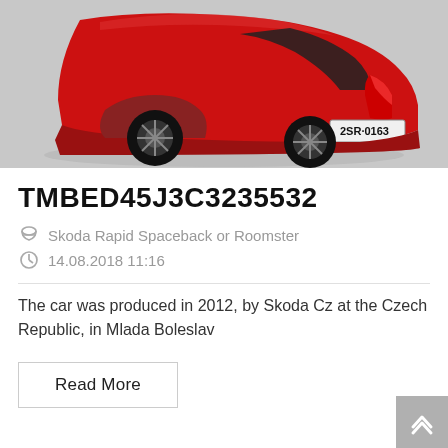[Figure (photo): Rear three-quarter view of a red Skoda compact car (Rapid Spaceback or Roomster) with license plate 2SR 0163, on a light grey background.]
TMBED45J3C3235532
Skoda Rapid Spaceback or Roomster
14.08.2018 11:16
The car was produced in 2012, by Skoda Cz at the Czech Republic, in Mlada Boleslav
Read More